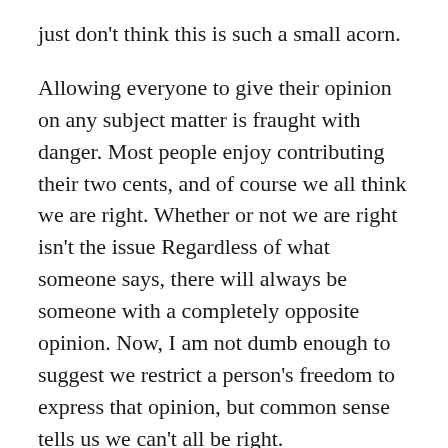just don't think this is such a small acorn.
Allowing everyone to give their opinion on any subject matter is fraught with danger. Most people enjoy contributing their two cents, and of course we all think we are right. Whether or not we are right isn't the issue Regardless of what someone says, there will always be someone with a completely opposite opinion. Now, I am not dumb enough to suggest we restrict a person's freedom to express that opinion, but common sense tells us we can't all be right.
In January, I watched Redfin CEO Glenn Kelman go head-to-head with Allan Dalton, President of Move, Inc.'s Real Estate Division and previous President and CEO of REALTOR.com. After several hot subjects, I had to give some credit to Kelman, even though I didn't agree with everything he said.